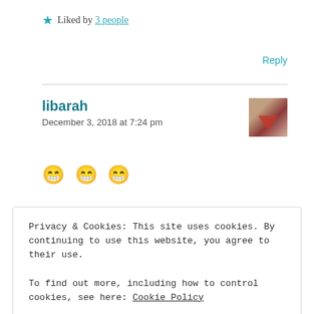★ Liked by 3 people
Reply
libarah
December 3, 2018 at 7:24 pm
[Figure (photo): Avatar image of commenter libarah showing a heart shape]
😁 😁 😁
Privacy & Cookies: This site uses cookies. By continuing to use this website, you agree to their use. To find out more, including how to control cookies, see here: Cookie Policy
Close and accept